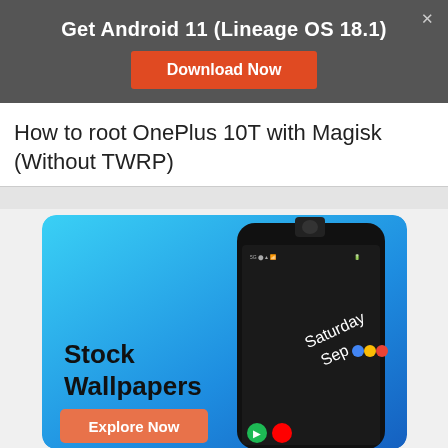Get Android 11 (Lineage OS 18.1)
Download Now
How to root OnePlus 10T with Magisk (Without TWRP)
[Figure (illustration): Promotional banner showing a OnePlus smartphone with pop-up camera on a blue gradient background. Text reads 'Stock Wallpapers' with an 'Explore Now' orange button. The phone screen shows 'Saturday Sep' with colorful icons.]